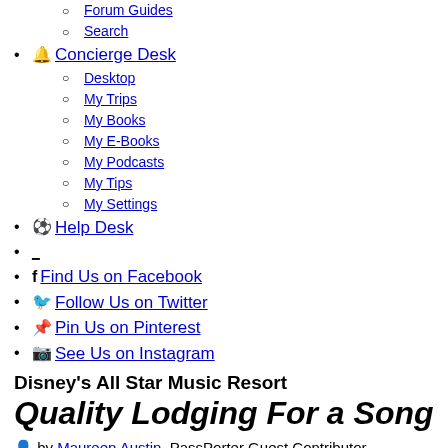Forum Guides
Search
🔔 Concierge Desk
Desktop
My Trips
My Books
My E-Books
My Podcasts
My Tips
My Settings
⚽ Help Desk
_
Find Us on Facebook
Follow Us on Twitter
Pin Us on Pinterest
See Us on Instagram
Disney's All Star Music Resort
Quality Lodging For a Song
by Maureen Austin, PassPorter Guest Contributor
Last modified 1/13/2009